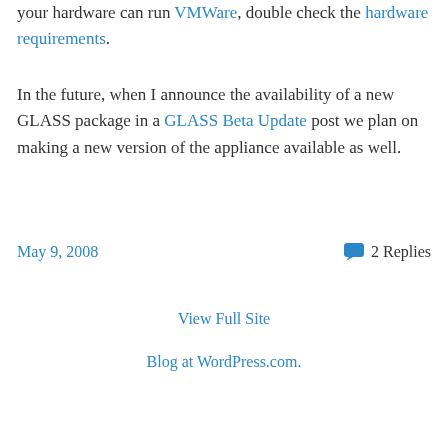your hardware can run VMWare, double check the hardware requirements.
In the future, when I announce the availability of a new GLASS package in a GLASS Beta Update post we plan on making a new version of the appliance available as well.
May 9, 2008
2 Replies
View Full Site
Blog at WordPress.com.